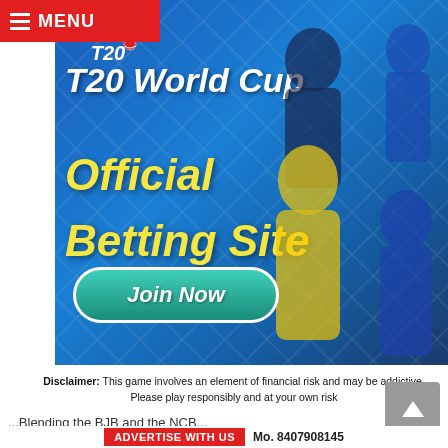MENU
[Figure (photo): T20 World Cup Official Betting Site advertisement banner featuring cricket players in team jerseys (yellow CSK, blue MI, KKR, DC), with T20 logo, large text 'T20 World Cup Official Betting Site' and a teal 'Join Now' button on a blue gradient background with diamond patterns]
Disclaimer: This game involves an element of financial risk and may be addictive. Please play responsibly and at your own risk
...Blending the BJB and the NCB...
ADVERTISE WITH US  Mo. 8407908145